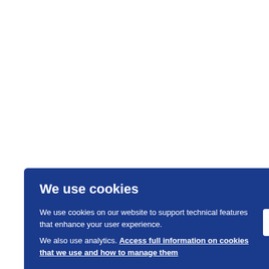combination flexibly coupled to the rotational frequency at which said m
g. said flywheel-flywheel rotation/pe member combination having reson which said members separate due
VI. The appellant argued that claim because it was based on claim 16 comprised some clarifications whic
ne ess C.
lates proble tion f
[Figure (screenshot): Cookie consent overlay banner with blue background. Title: 'We use cookies'. Body text: 'We use cookies on our website to support technical features that enhance your user experience.' and 'We also use analytics. Access full information on cookies that we use and how to manage them' (link). An OK button on the right side.]